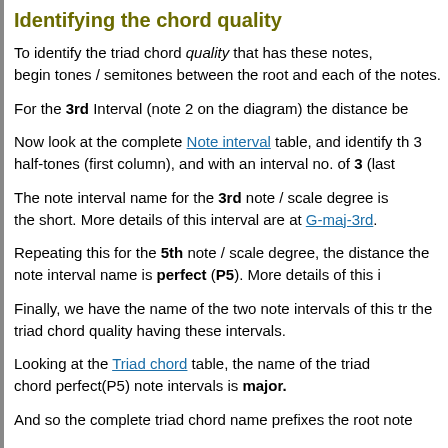Identifying the chord quality
To identify the triad chord quality that has these notes, begin tones / semitones between the root and each of the notes.
For the 3rd Interval (note 2 on the diagram) the distance be
Now look at the complete Note interval table, and identify th 3 half-tones (first column), and with an interval no. of 3 (last
The note interval name for the 3rd note / scale degree is the short. More details of this interval are at G-maj-3rd.
Repeating this for the 5th note / scale degree, the distance the note interval name is perfect (P5). More details of this i
Finally, we have the name of the two note intervals of this tr the triad chord quality having these intervals.
Looking at the Triad chord table, the name of the triad chord perfect(P5) note intervals is major.
And so the complete triad chord name prefixes the root note